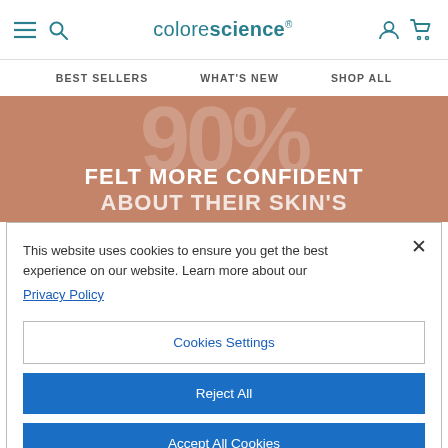colorescience — BEST SELLERS  WHAT'S NEW  SHOP ALL
[Figure (screenshot): Colorescience website hero banner with brownish-rose background showing large partially visible percentage number and bold white text reading FELT MORE CONFIDENT ABOUT THEIR SKIN'S]
This website uses cookies to ensure you get the best experience on our website. Learn more about our Privacy Policy
Cookies Settings
Reject All
Accept All Cookies